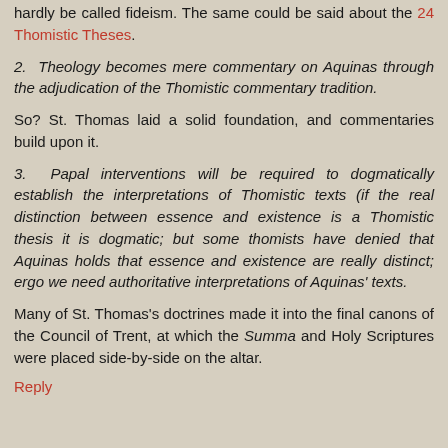hardly be called fideism. The same could be said about the 24 Thomistic Theses.
2. Theology becomes mere commentary on Aquinas through the adjudication of the Thomistic commentary tradition.
So? St. Thomas laid a solid foundation, and commentaries build upon it.
3. Papal interventions will be required to dogmatically establish the interpretations of Thomistic texts (if the real distinction between essence and existence is a Thomistic thesis it is dogmatic; but some thomists have denied that Aquinas holds that essence and existence are really distinct; ergo we need authoritative interpretations of Aquinas' texts.
Many of St. Thomas's doctrines made it into the final canons of the Council of Trent, at which the Summa and Holy Scriptures were placed side-by-side on the altar.
Reply